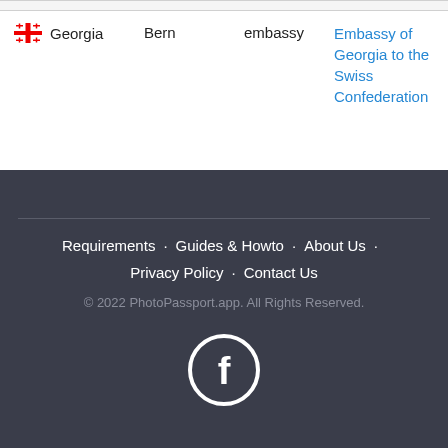| Country | City | Type | Name |
| --- | --- | --- | --- |
| Georgia | Bern | embassy | Embassy of Georgia to the Swiss Confederation |
Requirements · Guides & Howto · About Us · Privacy Policy · Contact Us
© 2022 PhotoPassport.app. All Rights Reserved.